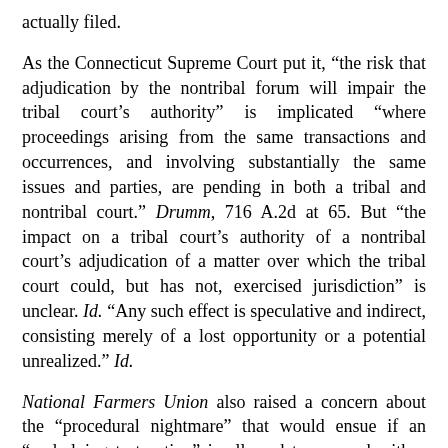actually filed.
As the Connecticut Supreme Court put it, “the risk that adjudication by the nontribal forum will impair the tribal court’s authority” is implicated “where proceedings arising from the same transactions and occurrences, and involving substantially the same issues and parties, are pending in both a tribal and nontribal court.” Drumm, 716 A.2d at 65. But “the impact on a tribal court’s authority of a nontribal court’s adjudication of a matter over which the tribal court could, but has not, exercised jurisdiction” is unclear. Id. “Any such effect is speculative and indirect, consisting merely of a lost opportunity or a potential unrealized.” Id.
National Farmers Union also raised a concern about the “procedural nightmare” that would ensue if an “underlying tort action” is allowed to proceed with a pending tribal proceeding hanging in the balance. 471 U.S. at 853, 856 (discussing the policy of the advancement of the “orderly administration of justice”). The court expressed discomfort with the potential procedural complications that defendants ultimately ought to